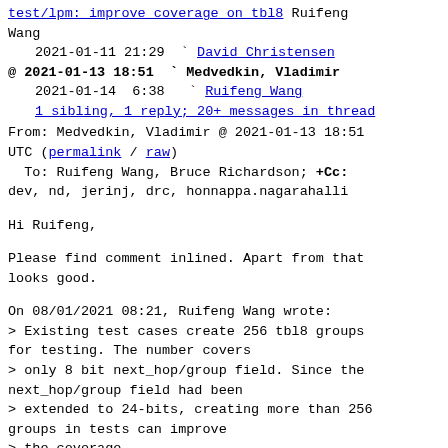test/lpm: improve coverage on tbl8 Ruifeng Wang
2021-01-11 21:29  ` David Christensen
@ 2021-01-13 18:51  ` Medvedkin, Vladimir
2021-01-14  6:38  ` Ruifeng Wang
1 sibling, 1 reply; 20+ messages in thread
From: Medvedkin, Vladimir @ 2021-01-13 18:51 UTC (permalink / raw)
To: Ruifeng Wang, Bruce Richardson; +Cc: dev, nd, jerinj, drc, honnappa.nagarahalli
Hi Ruifeng,
Please find comment inlined. Apart from that looks good.
On 08/01/2021 08:21, Ruifeng Wang wrote:
> Existing test cases create 256 tbl8 groups for testing. The number covers
> only 8 bit next_hop/group field. Since the next_hop/group field had been
> extended to 24-bits, creating more than 256 groups in tests can improve
> the coverage.
>
> Coverage was not expanded to reach the max supported group number, because
> it would take too much time to run for this fast-test.
>